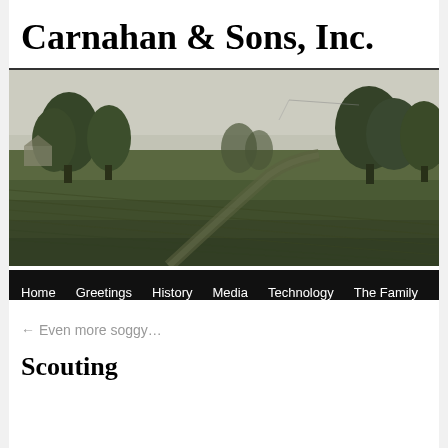Carnahan & Sons, Inc.
[Figure (photo): Photograph of a farm field with rows of crops in the foreground and trees in the background under a hazy sky. Navigation bar below with links: Home, Greetings, History, Media, Technology, The Family.]
← Even more soggy…
Scouting